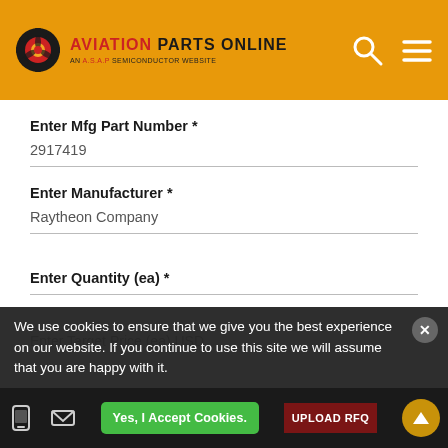[Figure (logo): Aviation Parts Online logo with gear icon and 'AN A.S.A.P SEMICONDUCTOR WEBSITE' subtitle]
Enter Mfg Part Number *
2917419
Enter Manufacturer *
Raytheon Company
Enter Quantity (ea) *
Enter Target Price (ea) USD
We use cookies to ensure that we give you the best experience on our website. If you continue to use this site we will assume that you are happy with it.
Yes, I Accept Cookies.
UPLOAD RFQ